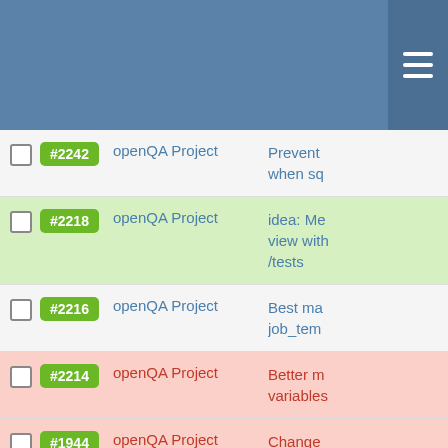[Figure (screenshot): Blue header bar with hamburger menu icon on the right]
#2242 openQA Project Prevent when sq
#2218 openQA Project idea: Me view with /tests
#2216 openQA Project Best ma job_tem
#2214 openQA Project Better m variables
#1944 openQA Project Change uploadlo IP base
#1938 openQA Project Fixture ( the infor opensus